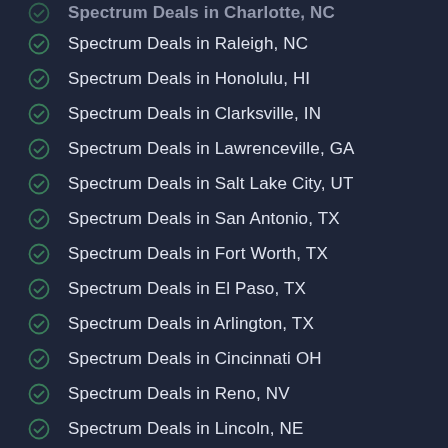Spectrum Deals in Charlotte, NC (partial)
Spectrum Deals in Raleigh, NC
Spectrum Deals in Honolulu, HI
Spectrum Deals in Clarksville, IN
Spectrum Deals in Lawrenceville, GA
Spectrum Deals in Salt Lake City, UT
Spectrum Deals in San Antonio, TX
Spectrum Deals in Fort Worth, TX
Spectrum Deals in El Paso, TX
Spectrum Deals in Arlington, TX
Spectrum Deals in Cincinnati OH
Spectrum Deals in Reno, NV
Spectrum Deals in Lincoln, NE
Spectrum Deals in Saint Louis, MO
Spectrum Deals in Louisville, KY
Spectrum Deals in Orlando, FL